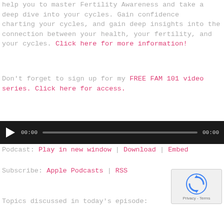help you to master Fertility Awareness and take a deep dive into your cycles. Gain confidence charting your cycles, and gain deep insights into the connection between your health, your fertility, and your cycles. Click here for more information!
Don't forget to sign up for my FREE FAM 101 video series. Click here for access.
[Figure (other): Audio player with play button, progress bar, and time displays showing 00:00 on both sides]
Podcast: Play in new window | Download | Embed
Subscribe: Apple Podcasts | RSS
[Figure (other): reCAPTCHA privacy badge with circular arrow logo and Privacy - Terms text]
Topics discussed in today's episode: